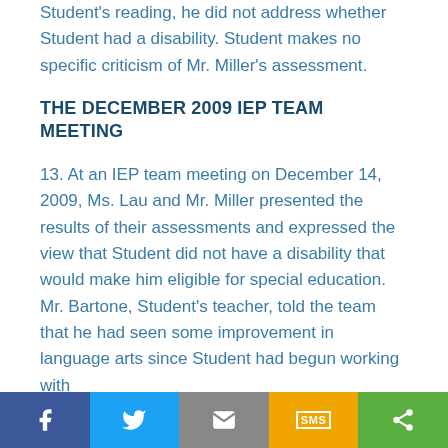Student's reading, he did not address whether Student had a disability. Student makes no specific criticism of Mr. Miller's assessment.
THE DECEMBER 2009 IEP TEAM MEETING
13. At an IEP team meeting on December 14, 2009, Ms. Lau and Mr. Miller presented the results of their assessments and expressed the view that Student did not have a disability that would make him eligible for special education. Mr. Bartone, Student's teacher, told the team that he had seen some improvement in language arts since Student had begun working with
[Figure (other): Social media sharing bar with Facebook, Twitter, Email, SMS, and Share buttons]